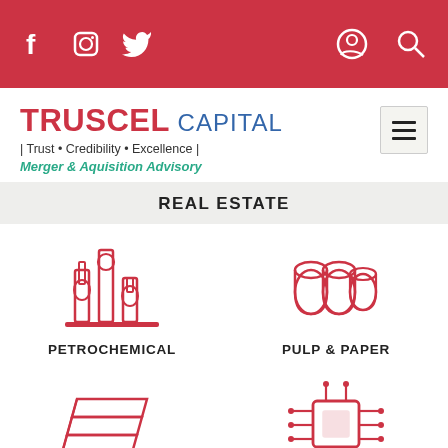Truscel Capital website header with social media icons (Facebook, Instagram, Twitter) and search/account icons on red background
TRUSCEL CAPITAL | Trust • Credibility • Excellence | Merger & Aquisition Advisory
REAL ESTATE
[Figure (illustration): Red line-art icon of petrochemical/industrial facility with tanks and towers]
PETROCHEMICAL
[Figure (illustration): Red line-art icon of paper rolls (pulp and paper)]
PULP & PAPER
[Figure (illustration): Red line-art icon of stacked metal sheets (steel and metal)]
STEEL & METAL
[Figure (illustration): Red line-art icon of microchip/circuit board (technology)]